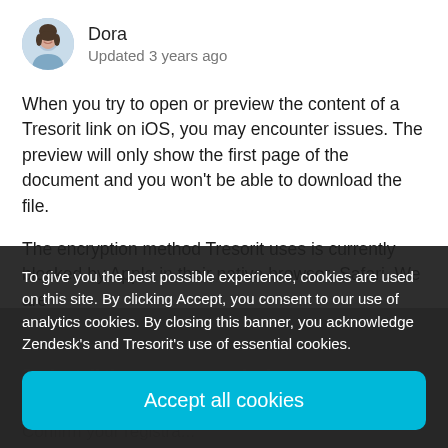Dora
Updated 3 years ago
When you try to open or preview the content of a Tresorit link on iOS, you may encounter issues. The preview will only show the first page of the document and you won't be able to download the file.
The encryption method Tresorit uses is currently blocked by Apple in their native browser, Safari. We are currently working on a fix. In the meantime, you can use the Tresorit app instead:
2.   Install the app on your device...
To give you the best possible experience, cookies are used on this site. By clicking Accept, you consent to our use of analytics cookies. By closing this banner, you acknowledge Zendesk's and Tresorit's use of essential cookies.
Accept all cookies
3.   Confirm your registra...